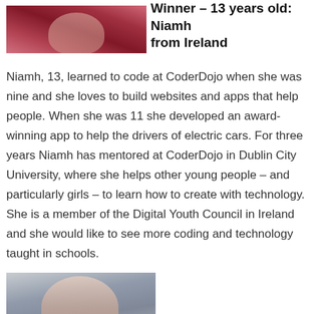[Figure (photo): Partial photo of a girl with red hair, cropped at top of page]
Winner – 13 years old: Niamh from Ireland
Niamh, 13, learned to code at CoderDojo when she was nine and she loves to build websites and apps that help people. When she was 11 she developed an award-winning app to help the drivers of electric cars. For three years Niamh has mentored at CoderDojo in Dublin City University, where she helps other young people – and particularly girls – to learn how to create with technology. She is a member of the Digital Youth Council in Ireland and she would like to see more coding and technology taught in schools.
[Figure (photo): Photo of a young girl smiling at the camera, partially visible at bottom of page]